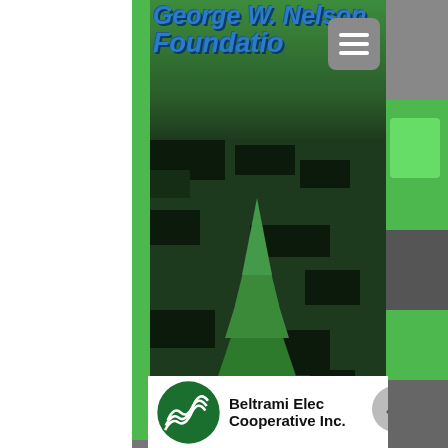[Figure (screenshot): Screenshot of the George W. Nelson Foundation website showing the NMRC (Northern Minnesota Robotics Conference) logo with a pine tree, electronic root system, and sponsor Beltrami Electric Cooperative Inc. logo at bottom. Green pixelated/camouflage background.]
George W. Nelson Foundation
[Figure (logo): NMRC Northern Minnesota Robotics Conference logo featuring a pine tree with circuit-board style roots, overlapping brown and blue lines]
[Figure (logo): Beltrami Electric Cooperative Inc. logo with green circle and lightning bolt design]